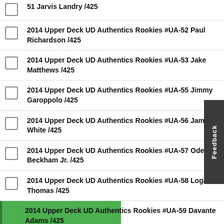2014 Upper Deck UD Authentics Rookies #UA-51 Jarvis Landry /425
2014 Upper Deck UD Authentics Rookies #UA-52 Paul Richardson /425
2014 Upper Deck UD Authentics Rookies #UA-53 Jake Matthews /425
2014 Upper Deck UD Authentics Rookies #UA-55 Jimmy Garoppolo /425
2014 Upper Deck UD Authentics Rookies #UA-56 James White /425
2014 Upper Deck UD Authentics Rookies #UA-57 Odell Beckham Jr. /425
2014 Upper Deck UD Authentics Rookies #UA-58 Logan Thomas /425
2014 Upper Deck UD Authentics Rookies #UA-59 Davante Adams /425
2014 Upper Deck UD Authentics Rookies #UA-